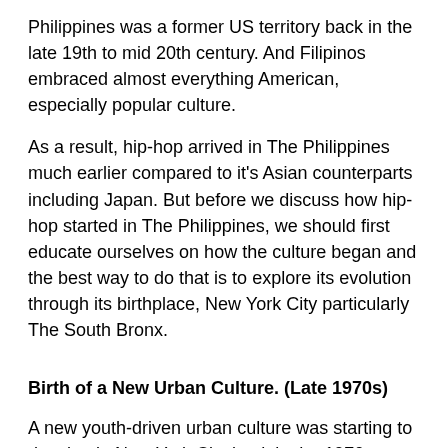Philippines was a former US territory back in the late 19th to mid 20th century. And Filipinos embraced almost everything American, especially popular culture.
As a result, hip-hop arrived in The Philippines much earlier compared to it's Asian counterparts including Japan. But before we discuss how hip-hop started in The Philippines, we should first educate ourselves on how the culture began and the best way to do that is to explore its evolution through its birthplace, New York City particularly The South Bronx.
Birth of a New Urban Culture. (Late 1970s)
A new youth-driven urban culture was starting to develop in New York City back in the 1970s, particularly in the inner city neighborhoods of The Bronx. The South Bronx was considered among the poorest in the city with mostly African-American and Hispanic demographics.